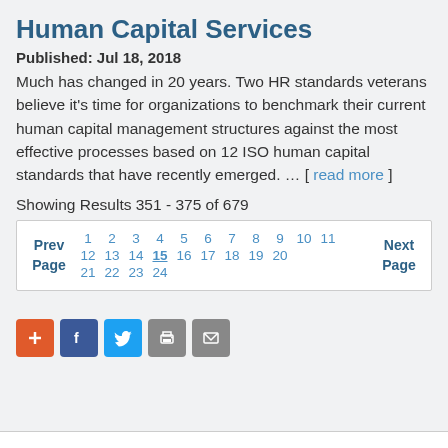Human Capital Services
Published: Jul 18, 2018
Much has changed in 20 years. Two HR standards veterans believe it’s time for organizations to benchmark their current human capital management structures against the most effective processes based on 12 ISO human capital standards that have recently emerged. … [ read more ]
Showing Results 351 - 375 of 679
| Prev Page | 1 2 3 4 5 6 7 8 9 10 11 12 13 14 15 16 17 18 19 20 21 22 23 24 | Next Page |
[Figure (other): Social sharing buttons: Google+, Facebook, Twitter, Print, Email]